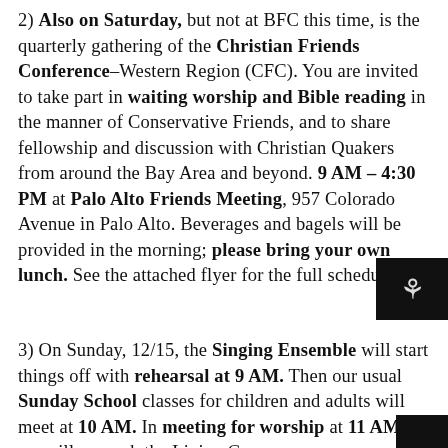2) Also on Saturday, but not at BFC this time, is the quarterly gathering of the Christian Friends Conference–Western Region (CFC). You are invited to take part in waiting worship and Bible reading in the manner of Conservative Friends, and to share fellowship and discussion with Christian Quakers from around the Bay Area and beyond. 9 AM – 4:30 PM at Palo Alto Friends Meeting, 957 Colorado Avenue in Palo Alto. Beverages and bagels will be provided in the morning; please bring your own lunch. See the attached flyer for the full schedule.
3) On Sunday, 12/15, the Singing Ensemble will start things off with rehearsal at 9 AM. Then our usual Sunday School classes for children and adults will meet at 10 AM. In meeting for worship at 11 AM, we will we seek the Living Go